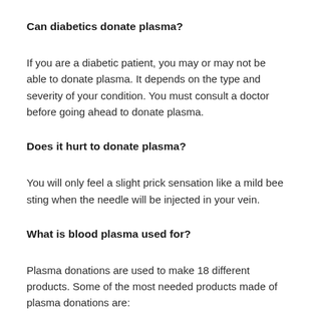Can diabetics donate plasma?
If you are a diabetic patient, you may or may not be able to donate plasma. It depends on the type and severity of your condition. You must consult a doctor before going ahead to donate plasma.
Does it hurt to donate plasma?
You will only feel a slight prick sensation like a mild bee sting when the needle will be injected in your vein.
What is blood plasma used for?
Plasma donations are used to make 18 different products. Some of the most needed products made of plasma donations are: